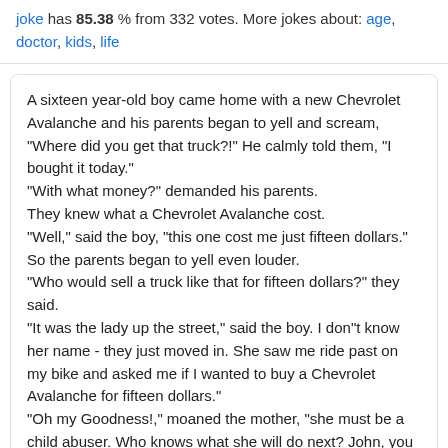joke has 85.38 % from 332 votes. More jokes about: age, doctor, kids, life
A sixteen year-old boy came home with a new Chevrolet Avalanche and his parents began to yell and scream, "Where did you get that truck?!" He calmly told them, "I bought it today."
"With what money?" demanded his parents.
They knew what a Chevrolet Avalanche cost.
"Well," said the boy, "this one cost me just fifteen dollars."
So the parents began to yell even louder.
"Who would sell a truck like that for fifteen dollars?" they said.
"It was the lady up the street," said the boy. I don"t know her name - they just moved in. She saw me ride past on my bike and asked me if I wanted to buy a Chevrolet Avalanche for fifteen dollars."
"Oh my Goodness!," moaned the mother, "she must be a child abuser. Who knows what she will do next? John, you go right up there and see what"s going on."
So the boy"s father walked up the street to the house where the lady lived and found her out in the...